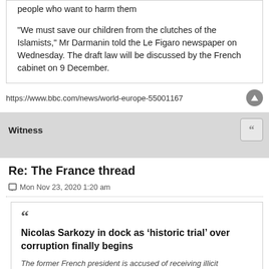people who want to harm them
"We must save our children from the clutches of the Islamists," Mr Darmanin told the Le Figaro newspaper on Wednesday. The draft law will be discussed by the French cabinet on 9 December.
https://www.bbc.com/news/world-europe-55001167
Witness
Re: The France thread
Mon Nov 23, 2020 1:20 am
Nicolas Sarkozy in dock as ‘historic trial’ over corruption finally begins
The former French president is accused of receiving illicit